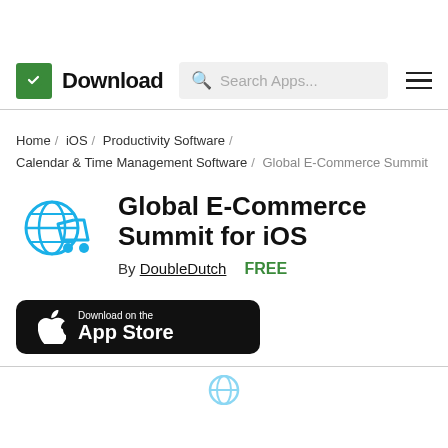Download — Search Apps...
Home / iOS / Productivity Software / Calendar & Time Management Software / Global E-Commerce Summit
Global E-Commerce Summit for iOS
By DoubleDutch   FREE
[Figure (other): Download on the App Store button (black rounded rectangle with Apple logo)]